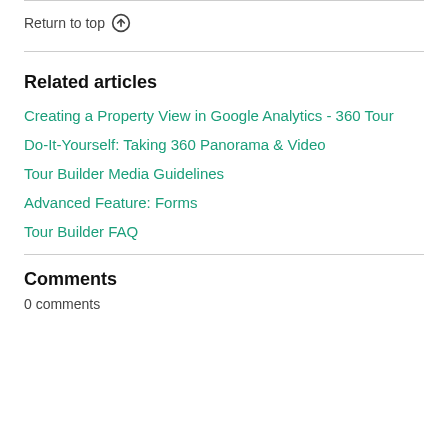Return to top ↑
Related articles
Creating a Property View in Google Analytics - 360 Tour
Do-It-Yourself: Taking 360 Panorama & Video
Tour Builder Media Guidelines
Advanced Feature: Forms
Tour Builder FAQ
Comments
0 comments